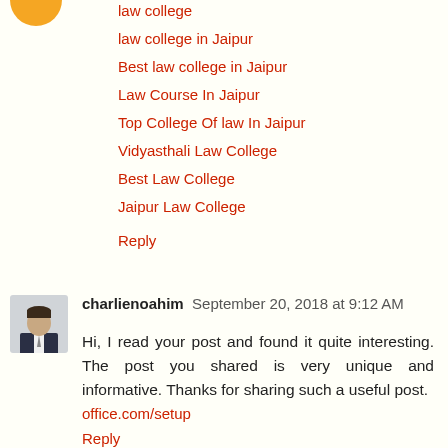[Figure (illustration): Partial orange circle avatar at top left]
law college
law college in Jaipur
Best law college in Jaipur
Law Course In Jaipur
Top College Of law In Jaipur
Vidyasthali Law College
Best Law College
Jaipur Law College
Reply
[Figure (photo): Avatar photo of a man in a suit]
charlienoahim  September 20, 2018 at 9:12 AM
Hi, I read your post and found it quite interesting. The post you shared is very unique and informative. Thanks for sharing such a useful post.
office.com/setup
Reply